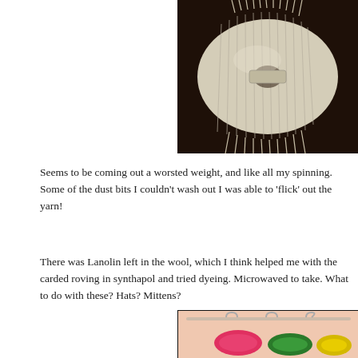[Figure (photo): A skein of natural undyed worsted-weight handspun wool yarn bundled together, photographed on a dark wooden surface.]
Seems to be coming out a worsted weight, and like all my spinning. Some of the dust bits I couldn't wash out I was able to 'flick' out the yarn!
There was Lanolin left in the wool, which I think helped me with the carded roving in synthapol and tried dyeing. Microwaved to take. What to do with these? Hats? Mittens?
[Figure (photo): Colorful dyed yarn skeins hanging on hangers — pink/red and yellow/green colors visible, against a light peach background.]